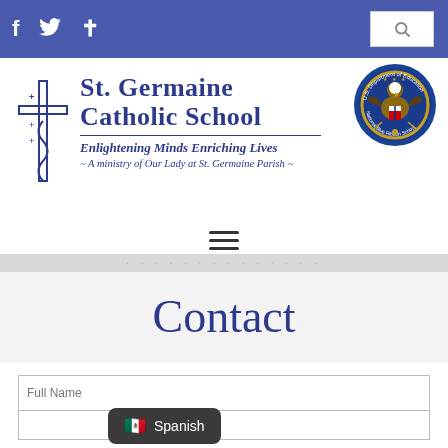f  ✓  ✝   [search]
[Figure (logo): St. Germaine Catholic School logo with cross symbol and National Blue Ribbon School seal]
St. Germaine Catholic School
Enlightening Minds Enriching Lives
~ A ministry of Our Lady at St. Germaine Parish ~
Contact
Full Name (field)
Spanish